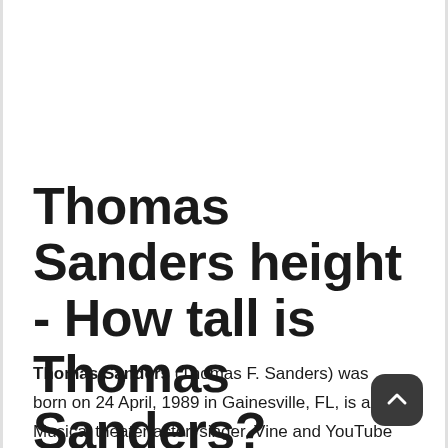Thomas Sanders height - How tall is Thomas Sanders?
Thomas Sanders (Thomas F. Sanders) was born on 24 April, 1989 in Gainesville, FL, is a Musical theater actor, singer, Vine and YouTube personality. At 31 years old, Thomas Sanders height is 5 ft 10 in (177.8 cm).